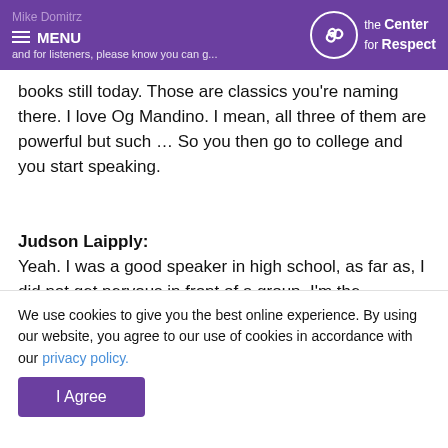Mike Domitrz | MENU | and for listeners, please know you can g... | the Center for Respect
books still today. Those are classics you're naming there. I love Og Mandino. I mean, all three of them are powerful but such … So you then go to college and you start speaking.
Judson Laipply:
Yeah. I was a good speaker in high school, as far as, I did not get nervous in front of a group. I'm the prototypical clinical definition of a third child in a family that was fairly normal, in middle-class life. I was seeking attention as a young child all the time. So
We use cookies to give you the best online experience. By using our website, you agree to our use of cookies in accordance with our privacy policy.
I Agree